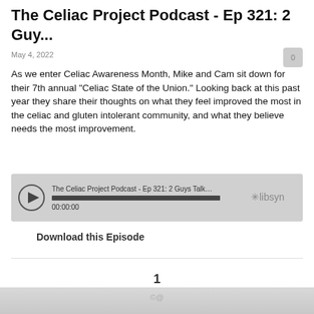The Celiac Project Podcast - Ep 321: 2 Guy...
May 4, 2022
As we enter Celiac Awareness Month, Mike and Cam sit down for their 7th annual "Celiac State of the Union." Looking back at this past year they share their thoughts on what they feel improved the most in the celiac and gluten intolerant community, and what they believe needs the most improvement.
[Figure (other): Audio player widget showing 'The Celiac Project Podcast - Ep 321: 2 Guys Talking Glute...' with play button, progress bar at 00:00:00, and Libsyn branding]
Download this Episode
1
©@